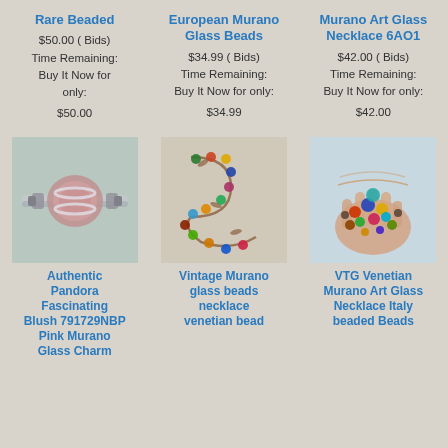Rare Beaded
$50.00 ( Bids)
Time Remaining:
Buy It Now for only:
$50.00
European Murano Glass Beads
$34.99 ( Bids)
Time Remaining:
Buy It Now for only:
$34.99
Murano Art Glass Necklace 6AO1
$42.00 ( Bids)
Time Remaining:
Buy It Now for only:
$42.00
[Figure (photo): Close-up of a Pandora Murano glass charm bead on a bracelet, pink/rose color]
Authentic Pandora Fascinating Blush 791729NBP Pink Murano Glass Charm
[Figure (photo): Vintage Murano glass beads necklace venetian bead with colorful S-shaped arrangement]
Vintage Murano glass beads necklace venetian bead
[Figure (photo): VTG Venetian Murano Art Glass Necklace Italy beaded Beads held in a hand]
VTG Venetian Murano Art Glass Necklace Italy beaded Beads